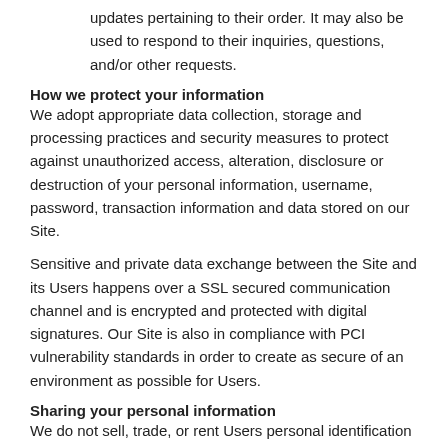updates pertaining to their order. It may also be used to respond to their inquiries, questions, and/or other requests.
How we protect your information
We adopt appropriate data collection, storage and processing practices and security measures to protect against unauthorized access, alteration, disclosure or destruction of your personal information, username, password, transaction information and data stored on our Site.
Sensitive and private data exchange between the Site and its Users happens over a SSL secured communication channel and is encrypted and protected with digital signatures. Our Site is also in compliance with PCI vulnerability standards in order to create as secure of an environment as possible for Users.
Sharing your personal information
We do not sell, trade, or rent Users personal identification information to others. We may share generic aggregated demographic information not linked to any personal identification information regarding visitors and users with our business partners, trusted affiliates and advertisers for the purposes outlined above.